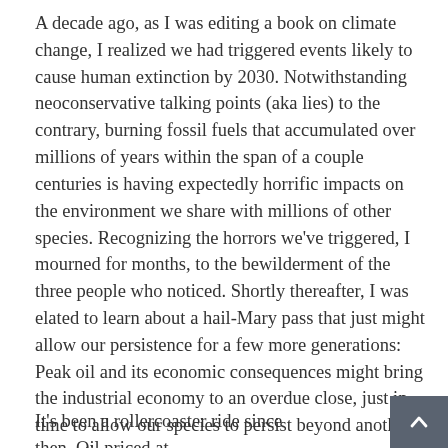A decade ago, as I was editing a book on climate change, I realized we had triggered events likely to cause human extinction by 2030. Notwithstanding neoconservative talking points (aka lies) to the contrary, burning fossil fuels that accumulated over millions of years within the span of a couple centuries is having expectedly horrific impacts on the environment we share with millions of other species. Recognizing the horrors we've triggered, I mourned for months, to the bewilderment of the three people who noticed. Shortly thereafter, I was elated to learn about a hail-Mary pass that just might allow our persistence for a few more generations: Peak oil and its economic consequences might bring the industrial economy to an overdue close, just in time to allow our species to persist beyond another generation.
It's been a rollercoaster ride since then. Oil priced at